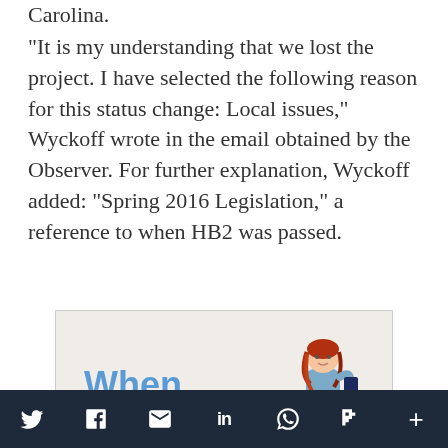Carolina.
“It is my understanding that we lost the project. I have selected the following reason for this status change: Local issues,” Wyckoff wrote in the email obtained by the Observer. For further explanation, Wyckoff added: “Spring 2016 Legislation,” a reference to when HB2 was passed.
[Figure (illustration): Advertisement image showing the word 'When' in blue bold text on a light beige background, with a young woman with long red hair sitting on a pink suitcase, holding a travel document, wearing a denim jacket and jeans.]
Social sharing icons: Twitter, Facebook, Email, LinkedIn, WhatsApp, Flipboard, More